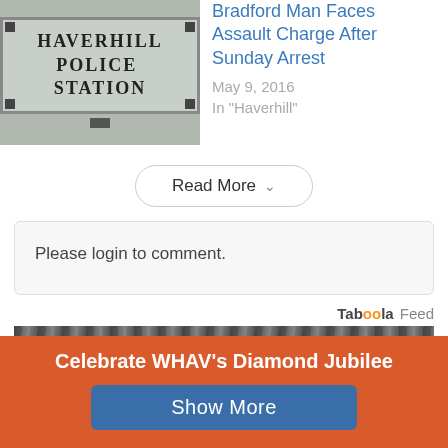[Figure (photo): Haverhill Police Station stone sign with metal corner bolts, surrounded by greenery and brick]
Bradford Man Faces Assault Charge After Sunday Arrest
May 9, 2016
In "Haverhill"
Read More
Please login to comment.
Taboola Feed
[Figure (photo): Black and white partial photo, appears to show metal/mechanical object]
Celebrate WHAV's Diamond Jubilee
Show More